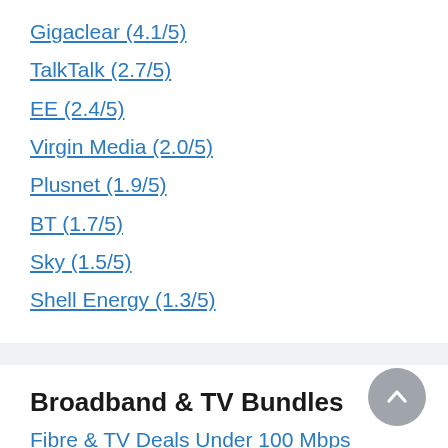Gigaclear (4.1/5)
TalkTalk (2.7/5)
EE (2.4/5)
Virgin Media (2.0/5)
Plusnet (1.9/5)
BT (1.7/5)
Sky (1.5/5)
Shell Energy (1.3/5)
Broadband & TV Bundles
Fibre & TV Deals Under 100 Mbps